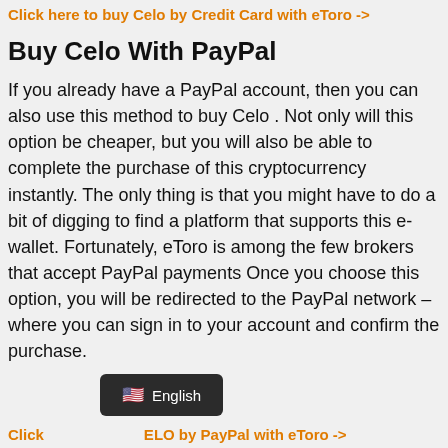Click here to buy Celo by Credit Card with eToro ->
Buy Celo With PayPal
If you already have a PayPal account, then you can also use this method to buy Celo . Not only will this option be cheaper, but you will also be able to complete the purchase of this cryptocurrency instantly. The only thing is that you might have to do a bit of digging to find a platform that supports this e-wallet. Fortunately, eToro is among the few brokers that accept PayPal payments Once you choose this option, you will be redirected to the PayPal network – where you can sign in to your account and confirm the purchase.
Click ... ELO by PayPal with eToro ->